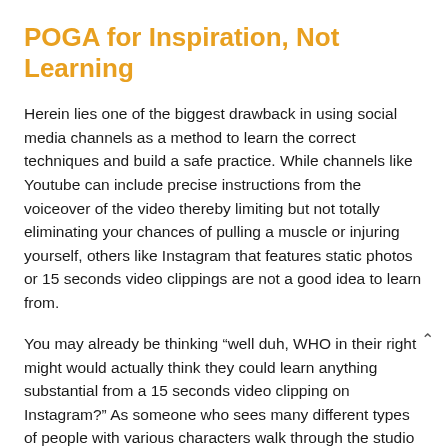POGA for Inspiration, Not Learning
Herein lies one of the biggest drawback in using social media channels as a method to learn the correct techniques and build a safe practice. While channels like Youtube can include precise instructions from the voiceover of the video thereby limiting but not totally eliminating your chances of pulling a muscle or injuring yourself, others like Instagram that features static photos or 15 seconds video clippings are not a good idea to learn from.
You may already be thinking “well duh, WHO in their right might would actually think they could learn anything substantial from a 15 seconds video clipping on Instagram?” As someone who sees many different types of people with various characters walk through the studio on a daily basis, I can safely vouch they exist. Many of them. And though this shows great evidence that many people are curious about this ancient practice and want to